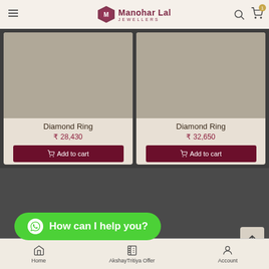Manohar Lal Jewellers
Diamond Ring ₹ 28,430
Add to cart
Diamond Ring ₹ 32,650
Add to cart
[Figure (screenshot): Pagination dots — three rows of circular dots, third dot in first row is highlighted white]
How can I help you?
ABOUT US
Home  AkshayTritiya Offer  Account